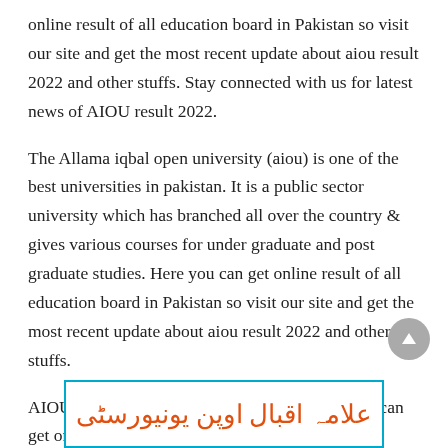online result of all education board in Pakistan so visit our site and get the most recent update about aiou result 2022 and other stuffs. Stay connected with us for latest news of AIOU result 2022.
The Allama iqbal open university (aiou) is one of the best universities in pakistan. It is a public sector university which has branched all over the country & gives various courses for under graduate and post graduate studies. Here you can get online result of all education board in Pakistan so visit our site and get the most recent update about aiou result 2022 and other stuffs.
AIOU Result 2022 has been announced, here you can get online result of all education.
[Figure (illustration): Box with cyan/teal border containing Urdu text 'علامہ اقبال اوپن یونیورسٹی' in orange/red color]